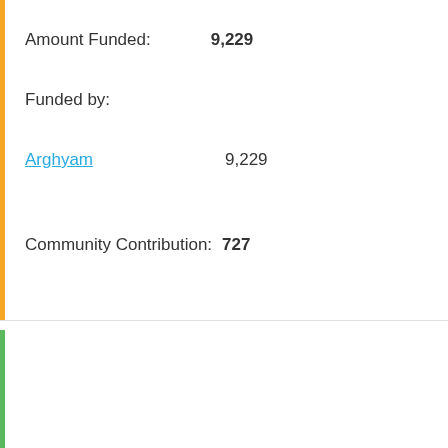Amount Funded: 9,229
Funded by:
Arghyam  9,229
Community Contribution: 727
Peer Review
Reviewers Assigned: 6
Reviews Submitted: 0
Discussion Participants: 15
Map of Plan & Projects
Need  Impact
Summary
| Name | Status | Co Da |
| --- | --- | --- |
| Renovation |  |  |